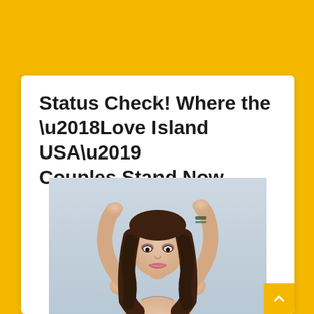Status Check! Where the ‘Love Island USA’ Couples Stand Now
[Figure (photo): A young woman with long brown wavy hair posing with arms raised above her head, wearing a bracelet, against a light grey background. Entertainment/celebrity promotional photo.]